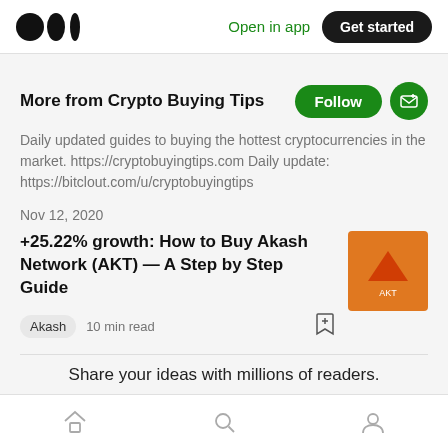Medium logo | Open in app | Get started
More from Crypto Buying Tips
Daily updated guides to buying the hottest cryptocurrencies in the market. https://cryptobuyingtips.com Daily update: https://bitclout.com/u/cryptobuyingtips
Nov 12, 2020
+25.22% growth: How to Buy Akash Network (AKT) — A Step by Step Guide
Akash  10 min read
Share your ideas with millions of readers.
Home | Search | Profile